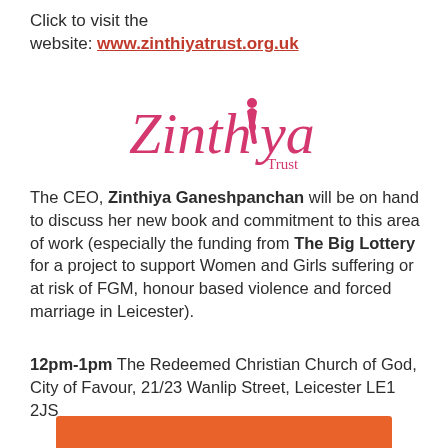Click to visit the website: www.zinthiyatrust.org.uk
[Figure (logo): Zinthiya Trust logo with pink cursive text and a small figure silhouette replacing the letter 'o' in Zinthiya, with 'Trust' in smaller text below right]
The CEO, Zinthiya Ganeshpanchan will be on hand to discuss her new book and commitment to this area of work (especially the funding from The Big Lottery for a project to support Women and Girls suffering or at risk of FGM, honour based violence and forced marriage in Leicester).
12pm-1pm The Redeemed Christian Church of God, City of Favour, 21/23 Wanlip Street, Leicester LE1 2JS
[Figure (other): Orange/salmon colored bar at the bottom of the page]